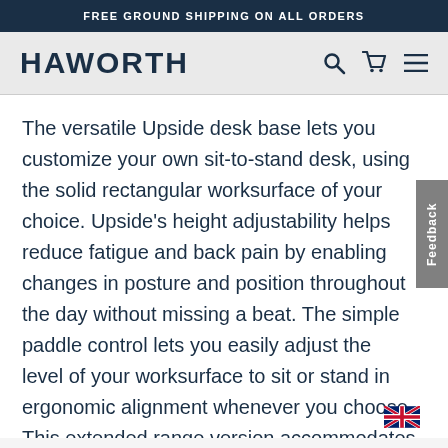FREE GROUND SHIPPING ON ALL ORDERS
HAWORTH
The versatile Upside desk base lets you customize your own sit-to-stand desk, using the solid rectangular worksurface of your choice. Upside's height adjustability helps reduce fatigue and back pain by enabling changes in posture and position throughout the day without missing a beat. The simple paddle control lets you easily adjust the level of your worksurface to sit or stand in ergonomic alignment whenever you choose. This extended range version accommodates a wider variety of people, no